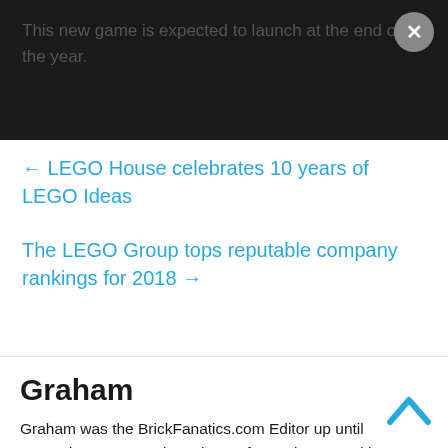This new game is expected to launch at the end of the year.
← LEGO House celebrates 10 years of LEGO Ideas
The LEGO Group tops reputable company rankings for 2018 →
Graham
Graham was the BrickFanatics.com Editor up until November 2020. He has plenty of experience working on LEGO related projects. He has contributed to various websites and publications on topics including